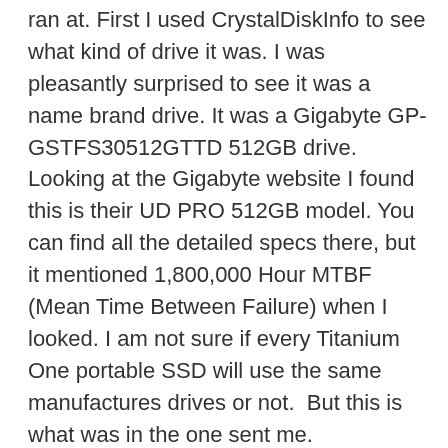ran at. First I used CrystalDiskInfo to see what kind of drive it was. I was pleasantly surprised to see it was a name brand drive. It was a Gigabyte GP-GSTFS30512GTTD 512GB drive. Looking at the Gigabyte website I found this is their UD PRO 512GB model. You can find all the detailed specs there, but it mentioned 1,800,000 Hour MTBF (Mean Time Between Failure) when I looked. I am not sure if every Titanium One portable SSD will use the same manufactures drives or not.  But this is what was in the one sent me.